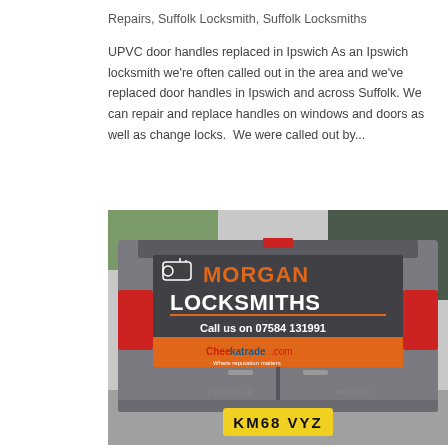Repairs, Suffolk Locksmith, Suffolk Locksmiths
UPVC door handles replaced in Ipswich As an Ipswich locksmith we're often called out in the area and we've replaced door handles in Ipswich and across Suffolk. We can repair and replace handles on windows and doors as well as change locks.  We were called out by...
[Figure (photo): Rear of a grey Peugeot Partner van with Morgan Locksmiths branding. The van has orange and white text reading 'MORGAN LOCKSMITHS', 'Call us on 07584 131991', and a Checkatrade.com logo. The number plate reads KM68 VYZ.]